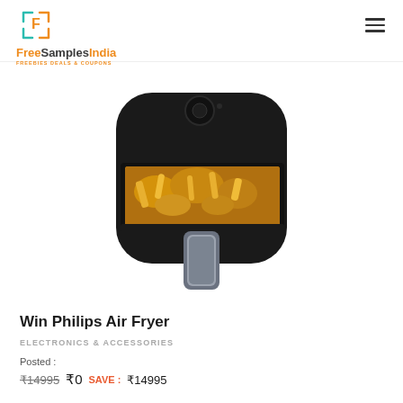[Figure (logo): FreeSamplesIndia logo with orange and teal F icon, text FreeSamplesIndia in orange/dark, tagline FREEBIES DEALS & COUPONS]
[Figure (photo): Philips Air Fryer product photo — black air fryer with open basket showing fried food (chips/chicken), gray handle, on white background]
Win Philips Air Fryer
ELECTRONICS & ACCESSORIES
Posted :
₹14995  ₹0  SAVE :  ₹14995